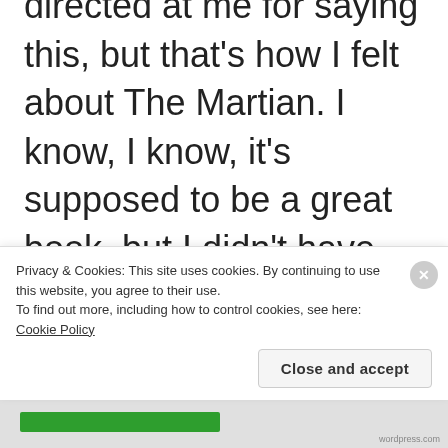directed at me for saying this, but that's how I felt about The Martian. I know, I know, it's supposed to be a great book, but I didn't have time to read it due to my insane backlog of books and now reading for my blog. So I know that it would
Privacy & Cookies: This site uses cookies. By continuing to use this website, you agree to their use.
To find out more, including how to control cookies, see here: Cookie Policy
Close and accept